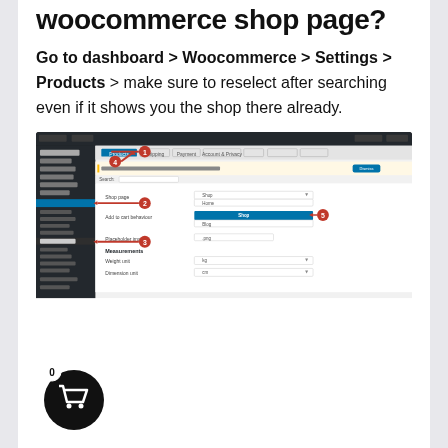woocommerce shop page?
Go to dashboard > Woocommerce > Settings > Products > make sure to reselect after searching even if it shows you the shop there already.
[Figure (screenshot): Screenshot of WordPress WooCommerce dashboard settings page showing Products tab with numbered red arrow annotations (1-5) pointing to: 1-Dashboard menu, 2-WooCommerce sidebar item, 3-Settings item, 4-Products tab, 5-Shop dropdown selection highlighted in blue]
[Figure (illustration): Black circular shopping cart button with white cart icon and red badge showing 0]